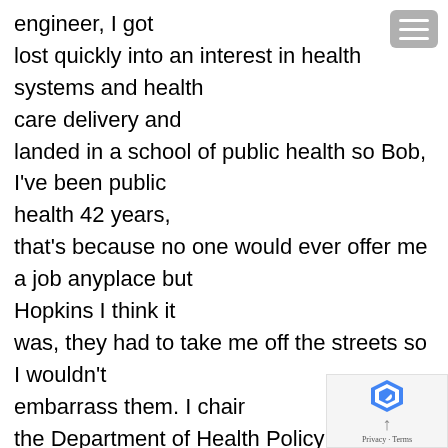engineer, I got lost quickly into an interest in health systems and health care delivery and landed in a school of public health so Bob, I've been public health 42 years, that's because no one would ever offer me a job anyplace but Hopkins I think it was, they had to take me off the streets so I wouldn't embarrass them. I chair the Department of Health Policy and Management and direct a health services research center, and half of my life is in mental health because we have a joint mental health center between University of Maryland and Johns Hopkins, the two Departments of psychiatry are health services research center and